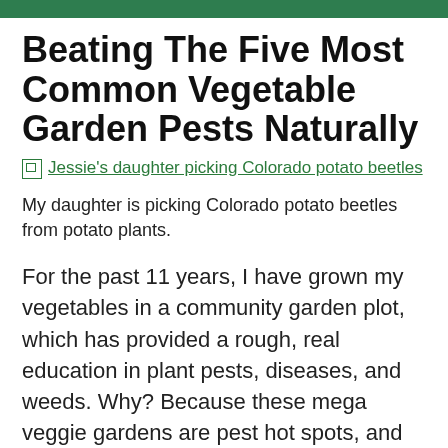Beating The Five Most Common Vegetable Garden Pests Naturally
[Figure (photo): Broken image link: Jessie's daughter picking Colorado potato beetles]
My daughter is picking Colorado potato beetles from potato plants.
For the past 11 years, I have grown my vegetables in a community garden plot, which has provided a rough, real education in plant pests, diseases, and weeds. Why? Because these mega veggie gardens are pest hot spots, and summer is the worst time of year for the